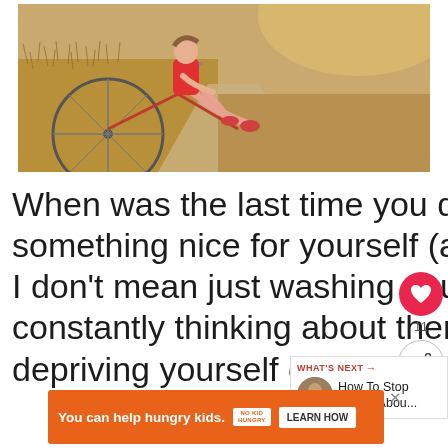[Figure (photo): Woman in red top sitting beside a bicycle on a dusty dirt road surrounded by dry golden grass fields, warm toned photo]
When was the last time you did something nice for yourself (and by that I don't mean just washing your hair)? By constantly thinking about them, you're depriving yourself of your well-b
[Figure (infographic): Social sidebar with heart/like button showing 11 likes and a share button]
[Figure (infographic): What's Next panel with thumbnail: How To Stop Caring Abou...]
[Figure (infographic): Orange advertisement banner: You can help hungry kids. No Kid Hungry. LEARN HOW button. Close X button.]